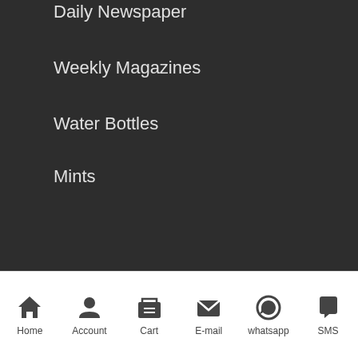Daily Newspaper
Weekly Magazines
Water Bottles
Mints
CONTACT
0416 271 787
booking@cabinminutes.com.au
Melbourne Airport Taxi
[Figure (map): Street map showing Melbourne area with roads highlighted in gold/yellow on light green background]
Home  Account  Cart  E-mail  whatsapp  SMS